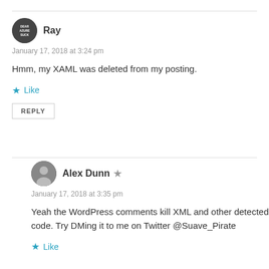Ray
January 17, 2018 at 3:24 pm
Hmm, my XAML was deleted from my posting.
Like
REPLY
Alex Dunn
January 17, 2018 at 3:35 pm
Yeah the WordPress comments kill XML and other detected code. Try DMing it to me on Twitter @Suave_Pirate
Like